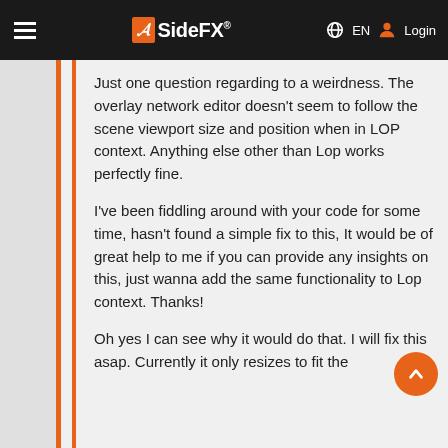SideFX EN Login
Been using this plugin for quite a while, pretty satisfying here.
Just one question regarding to a weirdness. The overlay network editor doesn't seem to follow the scene viewport size and position when in LOP context. Anything else other than Lop works perfectly fine.
I've been fiddling around with your code for some time, hasn't found a simple fix to this, It would be of great help to me if you can provide any insights on this, just wanna add the same functionality to Lop context. Thanks!
Oh yes I can see why it would do that. I will fix this asap. Currently it only resizes to fit the